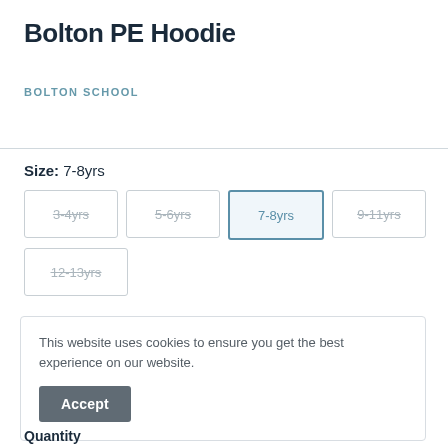Bolton PE Hoodie
BOLTON SCHOOL
Size: 7-8yrs
3-4yrs (unavailable)
5-6yrs (unavailable)
7-8yrs (selected)
9-11yrs (unavailable)
12-13yrs (unavailable)
This website uses cookies to ensure you get the best experience on our website.
Accept
Quantity